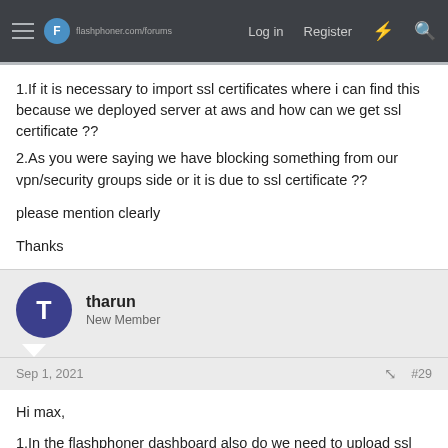flashphoner.com forums — Log in  Register
1.If it is necessary to import ssl certificates where i can find this because we deployed server at aws and how can we get ssl certificate ??
2.As you were saying we have blocking something from our vpn/security groups side or it is due to ssl certificate ??
please mention clearly
Thanks
tharun
New Member
Sep 1, 2021  #29
Hi max,
1.In the flashphoner dashboard also do we need to upload ssl